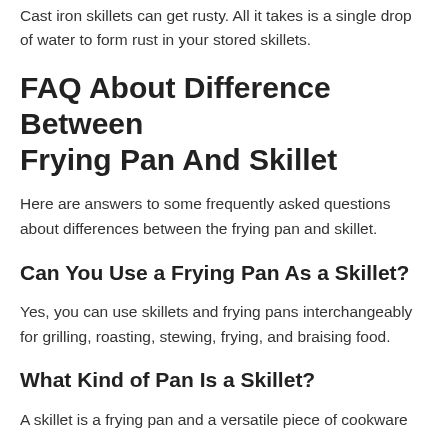Cast iron skillets can get rusty. All it takes is a single drop of water to form rust in your stored skillets.
FAQ About Difference Between Frying Pan And Skillet
Here are answers to some frequently asked questions about differences between the frying pan and skillet.
Can You Use a Frying Pan As a Skillet?
Yes, you can use skillets and frying pans interchangeably for grilling, roasting, stewing, frying, and braising food.
What Kind of Pan Is a Skillet?
A skillet is a frying pan and a versatile piece of cookware